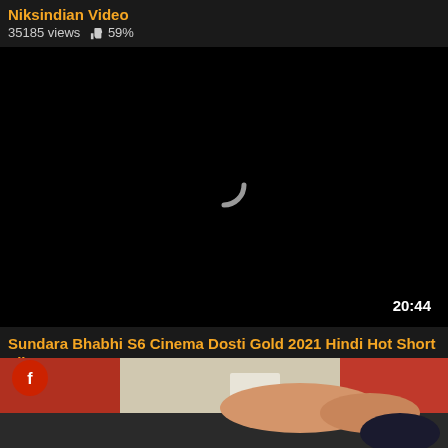Niksindian Video
35185 views  👍 59%
[Figure (screenshot): Black video player with a spinning loading indicator in the center and a duration badge showing 20:44 in the bottom right corner]
Sundara Bhabhi S6 Cinema Dosti Gold 2021 Hindi Hot Short Film
36915 views  👍 50%
[Figure (photo): Partial thumbnail showing a person lying down in a room with red and white walls]